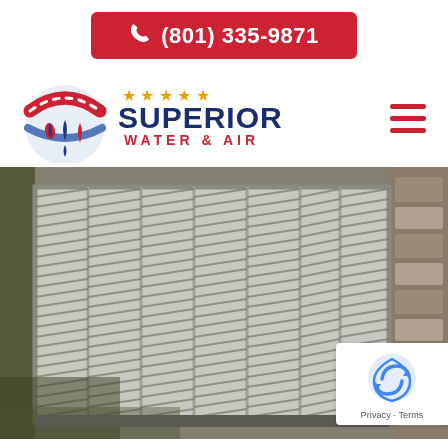(801) 335-9871
[Figure (logo): Superior Water & Air logo with red/blue circular emblem showing water drops, stars above, and company name in navy/red text]
[Figure (photo): Close-up photo of an outdoor HVAC air conditioning unit with metal louvered grille, surrounded by stone wall and foliage]
[Figure (other): Google reCAPTCHA badge with Privacy and Terms links]